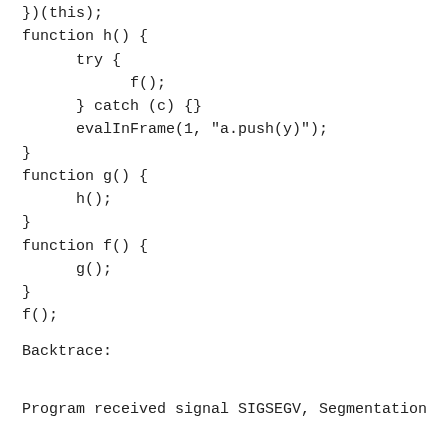})(this);
function h() {
    try {
        f();
    } catch (c) {}
    evalInFrame(1, "a.push(y)");
}
function g() {
    h();
}
function f() {
    g();
}
f();
Backtrace:
Program received signal SIGSEGV, Segmentation fault.